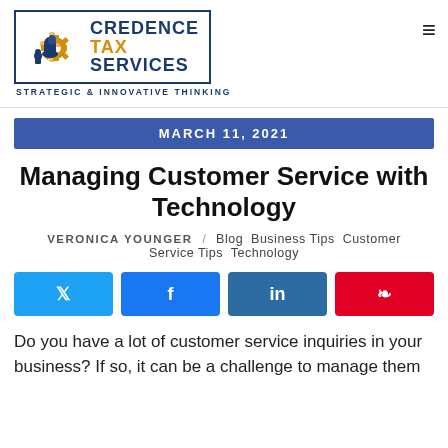[Figure (logo): Credence Tax Services logo with chess pieces and gear icon, tagline: Strategic & Innovative Thinking]
MARCH 11, 2021
Managing Customer Service with Technology
VERONICA YOUNGER / Blog Business Tips Customer Service Tips Technology
[Figure (infographic): Social share buttons: Twitter, Facebook, LinkedIn, Pinterest]
Do you have a lot of customer service inquiries in your business? If so, it can be a challenge to manage them